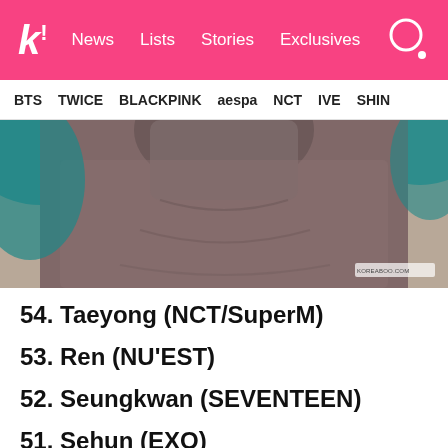k! News Lists Stories Exclusives
BTS TWICE BLACKPINK aespa NCT IVE SHINE
[Figure (photo): Close-up photo of a person wearing a brown/grey fuzzy turtleneck sweater with teal/blue shoulder patches. A small watermark is visible in the bottom right corner.]
54. Taeyong (NCT/SuperM)
53. Ren (NU'EST)
52. Seungkwan (SEVENTEEN)
51. Sehun (EXO)